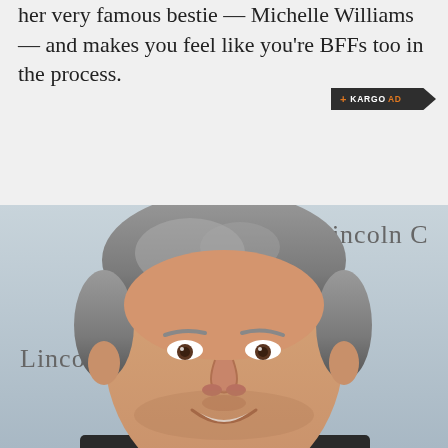her very famous bestie — Michelle Williams — and makes you feel like you're BFFs too in the process.
[Figure (other): Kargo Ad badge/label in dark background with orange accent and arrow shape]
[Figure (photo): A smiling middle-aged man with short gray hair photographed at a Lincoln Center event. Partial text 'Lincoln C' visible in upper right and 'Lincoln' visible at left of frame.]